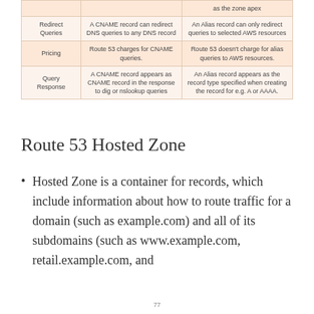|  | CNAME | Alias |
| --- | --- | --- |
| Redirect Queries | A CNAME record can redirect DNS queries to any DNS record | An Alias record can only redirect queries to selected AWS resources |
| Pricing | Route 53 charges for CNAME queries. | Route 53 doesn't charge for alias queries to AWS resources. |
| Query Response | A CNAME record appears as CNAME record in the response to dig or nslookup queries | An Alias record appears as the record type specified when creating the record for e.g. A or AAAA. |
Route 53 Hosted Zone
Hosted Zone is a container for records, which include information about how to route traffic for a domain (such as example.com) and all of its subdomains (such as www.example.com, retail.example.com, and